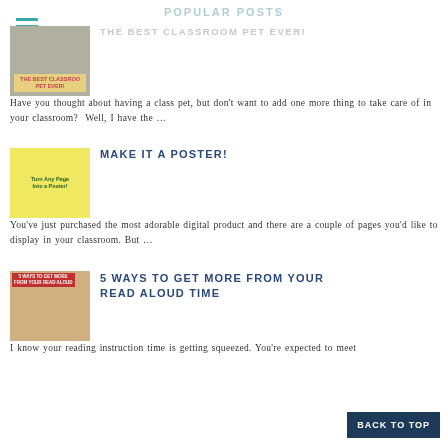POPULAR POSTS
[Figure (screenshot): Hamburger menu icon with teal/green lines]
THE BEST CLASSROOM PET EVER!
[Figure (photo): Thumbnail image for 'The Best Classroom Pet Ever!' blog post]
Have you thought about having a class pet, but don't want to add one more thing to take care of in your classroom?  Well, I have the …
MAKE IT A POSTER!
[Figure (photo): Thumbnail image for 'Make It A Poster!' blog post showing yellow poster]
You've just purchased the most adorable digital product and there are a couple of pages you'd like to display in your classroom. But …
5 WAYS TO GET MORE FROM YOUR READ ALOUD TIME
[Figure (photo): Thumbnail image for '5 Ways to Get More From Your Read Aloud Time' blog post]
I know your reading instruction time is getting squeezed. You're expected to meet with …
BACK TO TOP